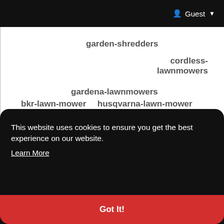Guest
garden-shredders
cordless-lawnmowers
gardena-lawnmowers
bkr-lawn-mower
husqvarna-lawn-mower
greenworks-lawnmowers
This website uses cookies to ensure you get the best experience on our website. Learn More
Got It!